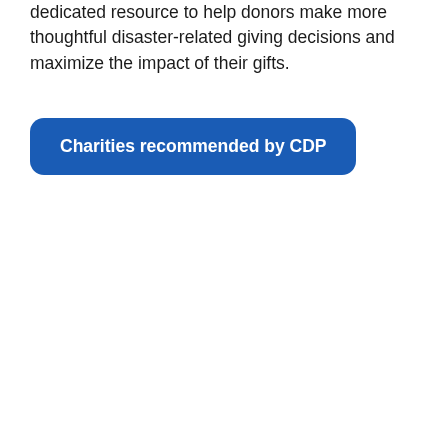dedicated resource to help donors make more thoughtful disaster-related giving decisions and maximize the impact of their gifts.
Charities recommended by CDP